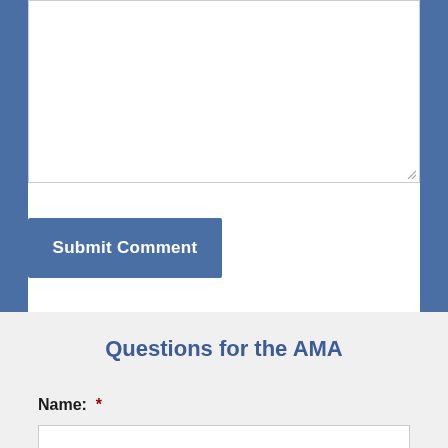[Figure (screenshot): A textarea input box with a resize handle in the bottom-right corner, on a white background with blue side borders.]
[Figure (screenshot): A blue 'Submit Comment' button with white bold text.]
Questions for the AMA
Name:  *
[Figure (screenshot): A text input field for Name, white background with border.]